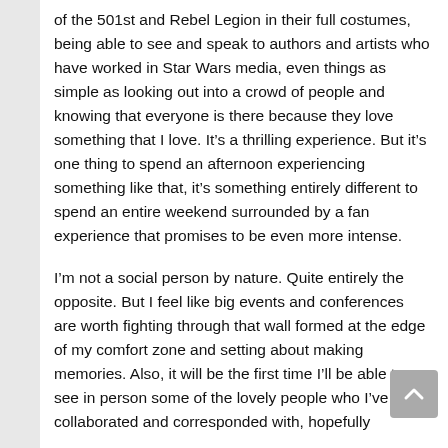of the 501st and Rebel Legion in their full costumes, being able to see and speak to authors and artists who have worked in Star Wars media, even things as simple as looking out into a crowd of people and knowing that everyone is there because they love something that I love. It's a thrilling experience. But it's one thing to spend an afternoon experiencing something like that, it's something entirely different to spend an entire weekend surrounded by a fan experience that promises to be even more intense.
I'm not a social person by nature. Quite entirely the opposite. But I feel like big events and conferences are worth fighting through that wall formed at the edge of my comfort zone and setting about making memories. Also, it will be the first time I'll be able to see in person some of the lovely people who I've collaborated and corresponded with, hopefully more than a few of the other fans and enthusiasts that…